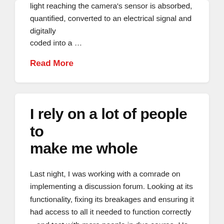light reaching the camera's sensor is absorbed, quantified, converted to an electrical signal and digitally coded into a …
Read More
I rely on a lot of people to make me whole
Last night, I was working with a comrade on implementing a discussion forum. Looking at its functionality, fixing its breakages and ensuring it had access to all it needed to function correctly – and test with more people in due course. He was looking at administrative functionality, I was trying to ensure that it wasn't going to fall over after …